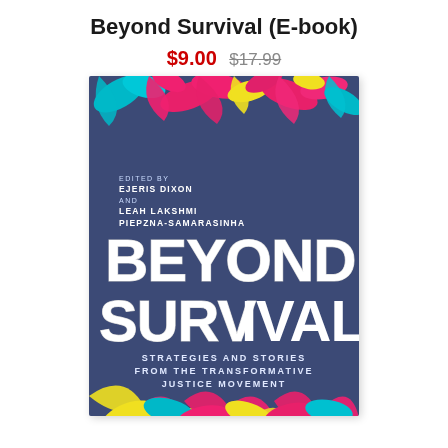Beyond Survival (E-book)
$9.00  $17.99
[Figure (illustration): Book cover of 'Beyond Survival: Strategies and Stories from the Transformative Justice Movement', edited by Ejeris Dixon and Leah Lakshmi Piepzna-Samarasinha. Dark blue/denim background with large white hand-lettered title text 'BEYOND SURVIVAL'. Colorful pink, teal, and yellow tropical leaves decorate the top and bottom. Subtitle text reads 'STRATEGIES AND STORIES FROM THE TRANSFORMATIVE JUSTICE MOVEMENT'.]